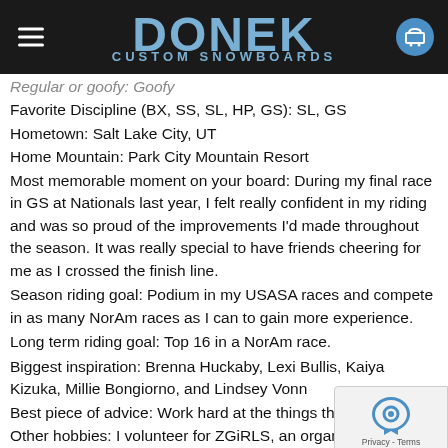Donek Custom Snowboards
Regular or goofy: Goofy
Favorite Discipline (BX, SS, SL, HP, GS): SL, GS
Hometown: Salt Lake City, UT
Home Mountain: Park City Mountain Resort
Most memorable moment on your board: During my final race in GS at Nationals last year, I felt really confident in my riding and was so proud of the improvements I'd made throughout the season. It was really special to have friends cheering for me as I crossed the finish line.
Season riding goal: Podium in my USASA races and compete in as many NorAm races as I can to gain more experience.
Long term riding goal: Top 16 in a NorAm race.
Biggest inspiration: Brenna Huckaby, Lexi Bullis, Kaiya Kizuka, Millie Bongiorno, and Lindsey Vonn
Best piece of advice: Work hard at the things that bring joy.
Other hobbies: I volunteer for ZGiRLS, an organization that helps 11-13 year old females with their development through sport and life...